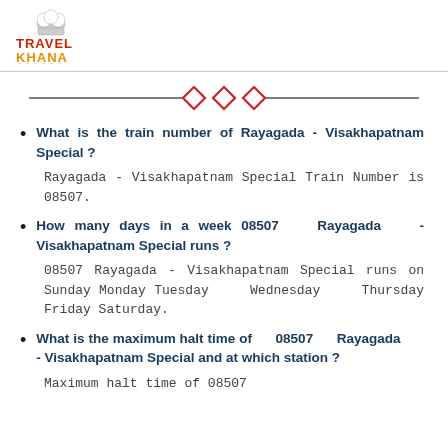[Figure (logo): TravelKhana logo with chef hat icon, red TRAVEL text, orange KHANA text, and orange dots below]
[Figure (other): Decorative divider with horizontal lines and red diamond shapes in center]
What is the train number of Rayagada - Visakhapatnam Special ?
Rayagada - Visakhapatnam Special Train Number is 08507.
How many days in a week 08507 Rayagada - Visakhapatnam Special runs ?
08507 Rayagada - Visakhapatnam Special runs on Sunday Monday Tuesday Wednesday Thursday Friday Saturday.
What is the maximum halt time of 08507 Rayagada - Visakhapatnam Special and at which station ?